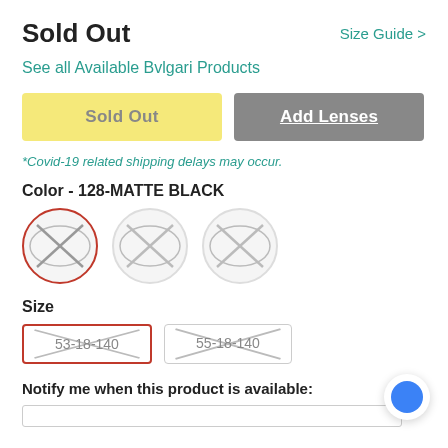Sold Out
Size Guide >
See all Available Bvlgari Products
Sold Out
Add Lenses
*Covid-19 related shipping delays may occur.
Color - 128-MATTE BLACK
[Figure (other): Three circular color swatches showing eyeglass frames crossed out (sold out). First swatch has red border (selected), second and third have gray borders.]
Size
[Figure (other): Two size option buttons: '53-18-140' with red border (selected) and '55-18-140' with gray border, both showing crossed-out text indicating sold out.]
Notify me when this product is available: